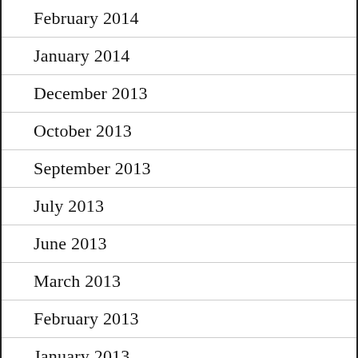February 2014
January 2014
December 2013
October 2013
September 2013
July 2013
June 2013
March 2013
February 2013
January 2013